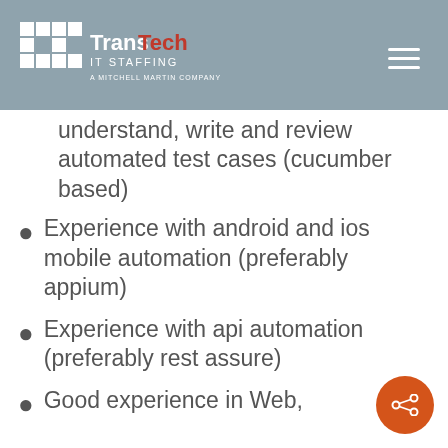TransTech IT Staffing — A Mitchell Martin Company
understand, write and review automated test cases (cucumber based)
Experience with android and ios mobile automation (preferably appium)
Experience with api automation (preferably rest assure)
Good experience in Web,